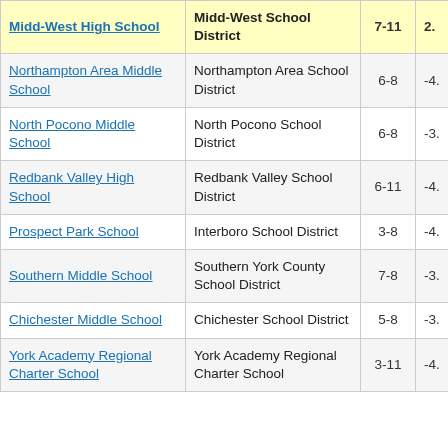| School | District | Grades | Score |
| --- | --- | --- | --- |
| Midd-West High School | Midd-West School District | 7-11 | 2. |
| Northampton Area Middle School | Northampton Area School District | 6-8 | -4. |
| North Pocono Middle School | North Pocono School District | 6-8 | -3. |
| Redbank Valley High School | Redbank Valley School District | 6-11 | -4. |
| Prospect Park School | Interboro School District | 3-8 | -4. |
| Southern Middle School | Southern York County School District | 7-8 | -3. |
| Chichester Middle School | Chichester School District | 5-8 | -3. |
| York Academy Regional Charter School | York Academy Regional Charter School | 3-11 | -4. |